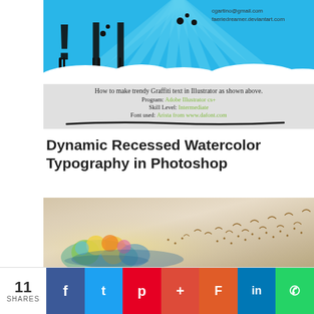[Figure (illustration): Graffiti-style tutorial header image with blue sky, sun rays, clouds, black drip text, and info box showing program, skill level, and font details]
Dynamic Recessed Watercolor Typography in Photoshop
[Figure (illustration): Watercolor typography artwork showing colorful flowers and birds flying against a warm beige/tan background]
11 SHARES  f  t  p  +  F  in  WhatsApp